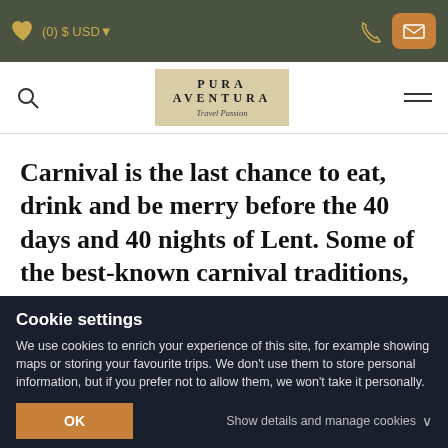(0) $ USD
[Figure (logo): Pura Aventura Travel Passion logo on beige background]
Carnival is the last chance to eat, drink and be merry before the 40 days and 40 nights of Lent. Some of the best-known carnival traditions, including parades,
Cookie settings
We use cookies to enrich your experience of this site, for example showing maps or storing your favourite trips. We don't use them to store personal information, but if you prefer not to allow them, we won't take it personally.
OK
Show details and manage cookies